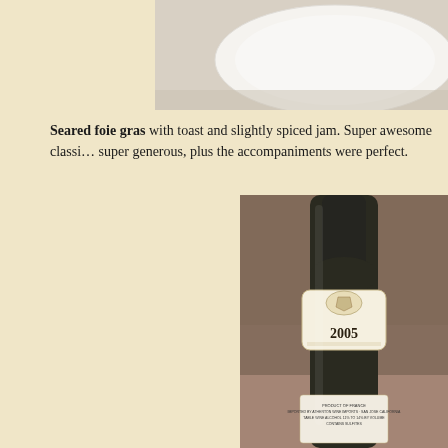[Figure (photo): Partial view of a white plate with food, cropped at top of page]
Seared foie gras with toast and slightly spiced jam. Super awesome classic, super generous, plus the accompaniments were perfect.
[Figure (photo): Close-up photograph of a wine bottle with a 2005 vintage label. The label shows a crest/shield design, the year 2005. Bottom label text reads: PRODUCT OF FRANCE, IMPORTED BY ATHERTON WINE IMPORTS - SAN JOSE CALIFORNIA, TABLE WINE, ALCOHOL 11% TO 14% BY VOLUME, CONTAINS SULFITES. The bottle is dark green glass.]